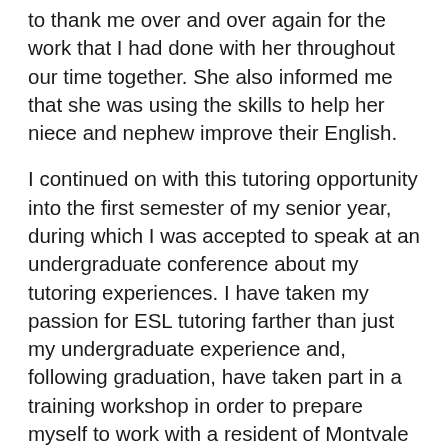to thank me over and over again for the work that I had done with her throughout our time together. She also informed me that she was using the skills to help her niece and nephew improve their English.
I continued on with this tutoring opportunity into the first semester of my senior year, during which I was accepted to speak at an undergraduate conference about my tutoring experiences. I have taken my passion for ESL tutoring farther than just my undergraduate experience and, following graduation, have taken part in a training workshop in order to prepare myself to work with a resident of Montvale for ten weeks. We will be working together to improve the resident's speech and writing skills. I am also looking to include my ESL experience into my graduate schoolwork. What began as a service learning component of class turned into what I would like to do with my future. You never know what doors will open up